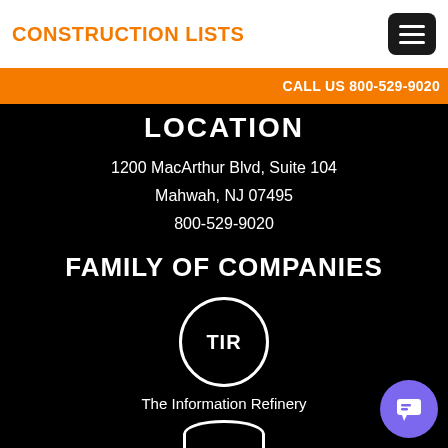CONSTRUCTION LISTS
CALL US 800-529-9020
LOCATION
1200 MacArthur Blvd, Suite 104
Mahwah, NJ 07495
800-529-9020
FAMILY OF COMPANIES
[Figure (logo): TIR circle logo]
The Information Refinery